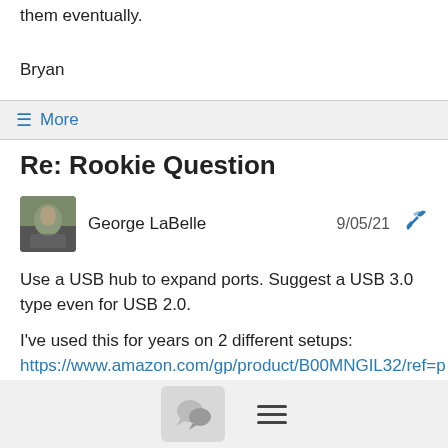them eventually.
Bryan
≡ More
Re: Rookie Question
George LaBelle  9/05/21
Use a USB hub to expand ports. Suggest a USB 3.0 type even for USB 2.0.

I've used this for years on 2 different setups:  https://www.amazon.com/gp/product/B00MNGIL32/ref=ppx_yo_dt_b_search_asin_title

--
George